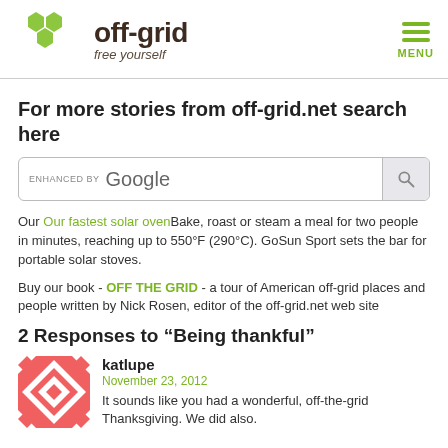[Figure (logo): off-grid website logo with green hexagon icons and text 'off-grid free yourself' plus menu icon]
For more stories from off-grid.net search here
[Figure (screenshot): Google custom search bar with 'ENHANCED BY Google' placeholder and search button]
Our Our fastest solar oven Bake, roast or steam a meal for two people in minutes, reaching up to 550°F (290°C). GoSun Sport sets the bar for portable solar stoves.
Buy our book - OFF THE GRID - a tour of American off-grid places and people written by Nick Rosen, editor of the off-grid.net web site
2 Responses to “Being thankful”
[Figure (illustration): Pink/red geometric quilt-pattern avatar icon]
katlupe
November 23, 2012
It sounds like you had a wonderful, off-the-grid Thanksgiving. We did also.